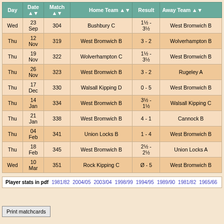| Day | Date ▲▼ | Match ▲▼ | Home Team ▲▼ | Result | Away Team ▲▼ |
| --- | --- | --- | --- | --- | --- |
| Wed | 23 Sep | 304 | Bushbury C | 1½ - 3½ | West Bromwich B |
| Thu | 12 Nov | 319 | West Bromwich B | 3 - 2 | Wolverhampton B |
| Thu | 19 Nov | 322 | Wolverhampton C | 1½ - 3½ | West Bromwich B |
| Thu | 26 Nov | 323 | West Bromwich B | 3 - 2 | Rugeley A |
| Thu | 17 Dec | 330 | Walsall Kipping D | 0 - 5 | West Bromwich B |
| Thu | 14 Jan | 334 | West Bromwich B | 3½ - 1½ | Walsall Kipping C |
| Thu | 21 Jan | 338 | West Bromwich B | 4 - 1 | Cannock B |
| Thu | 04 Feb | 341 | Union Locks B | 1 - 4 | West Bromwich B |
| Thu | 18 Feb | 345 | West Bromwich B | 2½ - 2½ | Union Locks A |
| Wed | 10 Mar | 351 | Rock Kipping C | Ø - 5 | West Bromwich B |
Player stats in pdf   1981/82  2004/05  2003/04  1998/99  1994/95  1989/90  1981/82  1965/66